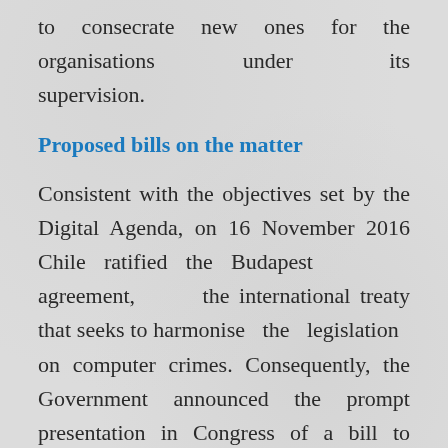to consecrate new ones for the organisations under its supervision.
Proposed bills on the matter
Consistent with the objectives set by the Digital Agenda, on 16 November 2016 Chile ratified the Budapest agreement, the international treaty that seeks to harmonise the legislation on computer crimes. Consequently, the Government announced the prompt presentation in Congress of a bill to amend and update Law No. 19,223 of 1993 on computer crimes,